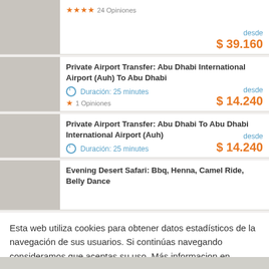★★★★ 24 Opiniones — desde $ 39.160
Private Airport Transfer: Abu Dhabi International Airport (Auh) To Abu Dhabi — Duración: 25 minutes — 1 Opiniones — desde $ 14.240
Private Airport Transfer: Abu Dhabi To Abu Dhabi International Airport (Auh) — Duración: 25 minutes — desde $ 14.240
Evening Desert Safari: Bbq, Henna, Camel Ride, Belly Dance
Esta web utiliza cookies para obtener datos estadísticos de la navegación de sus usuarios. Si continúas navegando consideramos que aceptas su uso. Más informacion en políticas de privacidad — ✕ Aceptar y cerrar